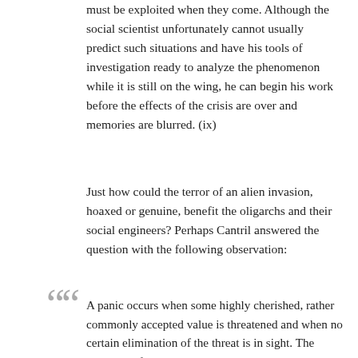must be exploited when they come. Although the social scientist unfortunately cannot usually predict such situations and have his tools of investigation ready to analyze the phenomenon while it is still on the wing, he can begin his work before the effects of the crisis are over and memories are blurred. (ix)
Just how could the terror of an alien invasion, hoaxed or genuine, benefit the oligarchs and their social engineers? Perhaps Cantril answered the question with the following observation:
A panic occurs when some highly cherished, rather commonly accepted value is threatened and when no certain elimination of the threat is in sight. The individual feels that he will be